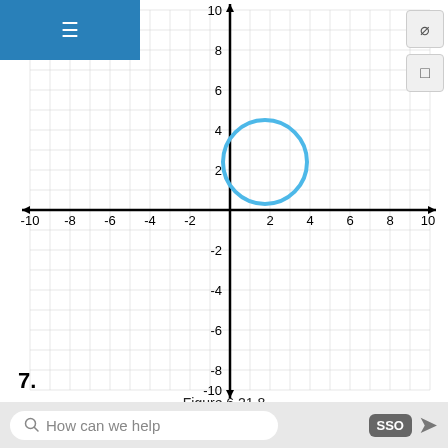[Figure (other): Coordinate plane (graph) with x-axis and y-axis ranging from -10 to 10, gridlines every 1 unit, tick labels every 2 units. A blue circle is drawn centered approximately at (1.5, 2) with radius about 2 units.]
7.
Figure 6.21.8